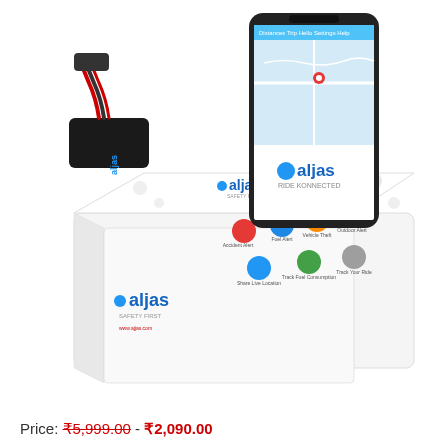[Figure (photo): Product photo showing Ajjas GPS tracker device with red and black wiring, a smartphone displaying the Ajjas app with a map and 'RIDE KONNECTED' tagline, and white product packaging box with Ajjas branding and feature icons (Accident Alert, Fuel Alert, Vehicle Theft, Outdoor Alert, Share Live Location, Track Fuel Consumption, Track Your Ride).]
Price: ₹5,999.00 - ₹2,090.00